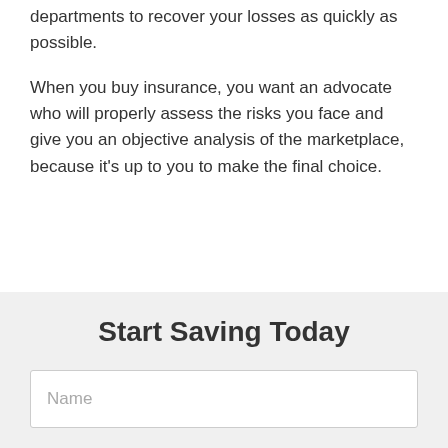departments to recover your losses as quickly as possible.
When you buy insurance, you want an advocate who will properly assess the risks you face and give you an objective analysis of the marketplace, because it's up to you to make the final choice.
Start Saving Today
Name